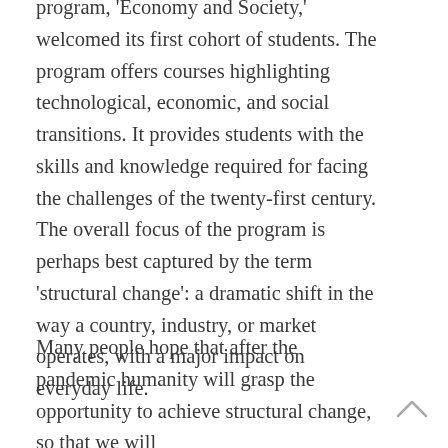program, 'Economy and Society,' welcomed its first cohort of students. The program offers courses highlighting technological, economic, and social transitions. It provides students with the skills and knowledge required for facing the challenges of the twenty-first century. The overall focus of the program is perhaps best captured by the term 'structural change': a dramatic shift in the way a country, industry, or market operates, with a major impact on everyday life.
Many people hope that after the pandemic humanity will grasp the opportunity to achieve structural change, so that we will